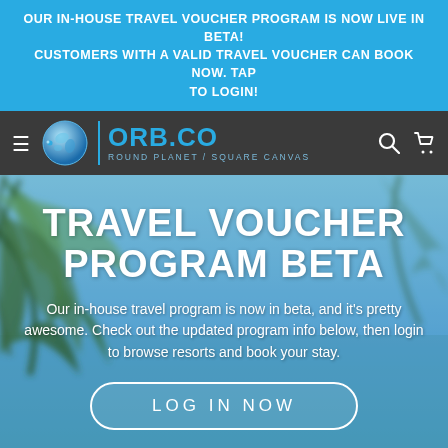OUR IN-HOUSE TRAVEL VOUCHER PROGRAM IS NOW LIVE IN BETA! CUSTOMERS WITH A VALID TRAVEL VOUCHER CAN BOOK NOW. TAP TO LOGIN!
[Figure (logo): ORB.CO logo with globe icon and tagline ROUND PLANET / SQUARE CANVAS on dark nav bar with hamburger menu, search and cart icons]
[Figure (photo): Background hero image showing tropical palm leaves and blurred beach/water scenery with teal/blue tones]
TRAVEL VOUCHER PROGRAM BETA
Our in-house travel program is now in beta, and it's pretty awesome. Check out the updated program info below, then login to browse resorts and book your stay.
LOG IN NOW